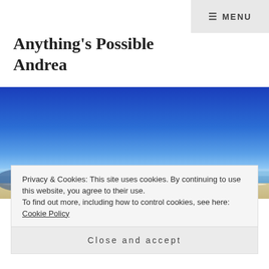☰ MENU
Anything's Possible Andrea
[Figure (photo): Beach scene with bright blue sky gradient fading to lighter blue near horizon, sandy beach visible at bottom, calm ocean water]
Privacy & Cookies: This site uses cookies. By continuing to use this website, you agree to their use. To find out more, including how to control cookies, see here: Cookie Policy
Close and accept